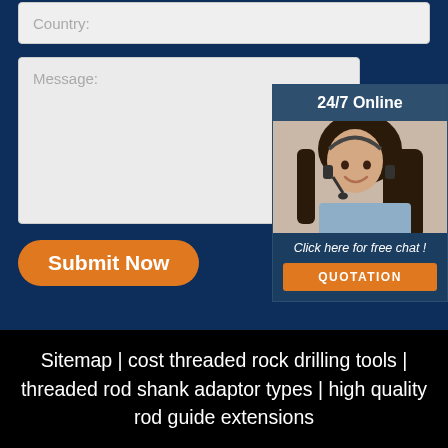Country:
Message:
Submit Now
[Figure (illustration): 24/7 Online chat widget showing a woman wearing a headset with text 'Click here for free chat!' and a QUOTATION button]
Sitemap | cost threaded rock drilling tools | threaded rod shank adaptor types | high quality rod guide extensions